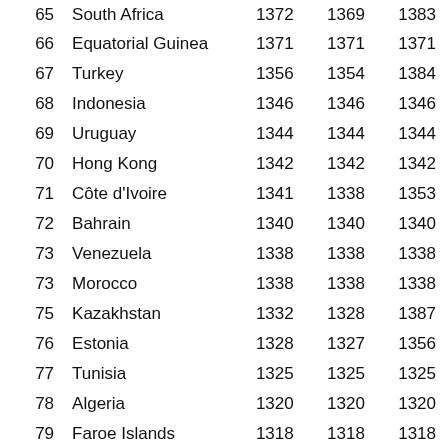| Rank | Country | Col1 | Col2 | Col3 |
| --- | --- | --- | --- | --- |
| 65 | South Africa | 1372 | 1369 | 1383 |
| 66 | Equatorial Guinea | 1371 | 1371 | 1371 |
| 67 | Turkey | 1356 | 1354 | 1384 |
| 68 | Indonesia | 1346 | 1346 | 1346 |
| 69 | Uruguay | 1344 | 1344 | 1344 |
| 70 | Hong Kong | 1342 | 1342 | 1342 |
| 71 | Côte d'Ivoire | 1341 | 1338 | 1353 |
| 72 | Bahrain | 1340 | 1340 | 1340 |
| 73 | Venezuela | 1338 | 1338 | 1338 |
| 73 | Morocco | 1338 | 1338 | 1338 |
| 75 | Kazakhstan | 1332 | 1328 | 1387 |
| 76 | Estonia | 1328 | 1327 | 1356 |
| 77 | Tunisia | 1325 | 1325 | 1325 |
| 78 | Algeria | 1320 | 1320 | 1320 |
| 79 | Faroe Islands | 1318 | 1318 | 1318 |
| 80 | Tonga | 1316 | 1316 | 1316 |
| 81 | Guatemala | 1310 | 1310 | 1310 |
| 82 | Fiji | 1306 | 1306 | 1306 |
| 83 | Lithuania | 1300 | 1300 | 1300 |
| 83 | Guam | 1300 | 1300 | 1300 |
| 85 | Laos | 1292 | 1292 | 1292 |
| 86 | Egypt | 1289 | 1289 | 1289 |